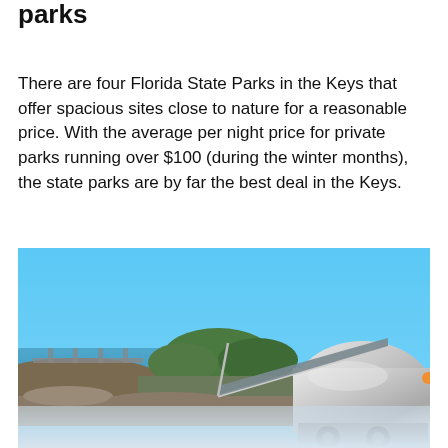parks
There are four Florida State Parks in the Keys that offer spacious sites close to nature for a reasonable price. With the average per night price for private parks running over $100 (during the winter months), the state parks are by far the best deal in the Keys.
[Figure (photo): An Airstream trailer with awning extended, parked at a Florida Keys state park campsite with water, bridge, and trees in the background under a blue sky.]